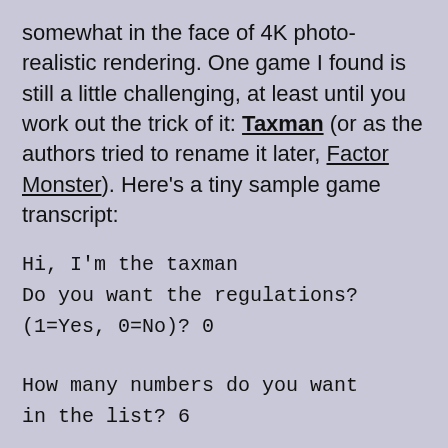somewhat in the face of 4K photo-realistic rendering. One game I found is still a little challenging, at least until you work out the trick of it: Taxman (or as the authors tried to rename it later, Factor Monster). Here's a tiny sample game transcript:
Hi, I'm the taxman
Do you want the regulations?
(1=Yes, 0=No)? 0
How many numbers do you want
in the list? 6